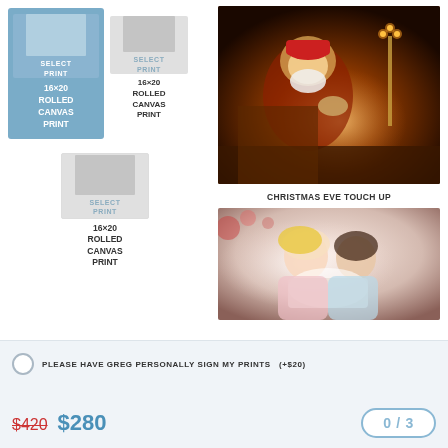[Figure (illustration): Selected product card: 16x20 Rolled Canvas Print with blue background highlight]
16×20
ROLLED
CANVAS
PRINT
[Figure (illustration): Unselected product card: 16x20 Rolled Canvas Print with grey background]
16×20
ROLLED
CANVAS
PRINT
[Figure (illustration): Third product card: 16x20 Rolled Canvas Print with grey background]
16×20
ROLLED
CANVAS
PRINT
[Figure (photo): Photo of Santa Claus examining a toy near a fireplace with candles - Christmas Eve Touch Up artwork]
CHRISTMAS EVE TOUCH UP
[Figure (photo): Photo of two young girls reading a book together - soft glowing light]
PLEASE HAVE GREG PERSONALLY SIGN MY PRINTS  (+$20)
$420  $280
0 / 3